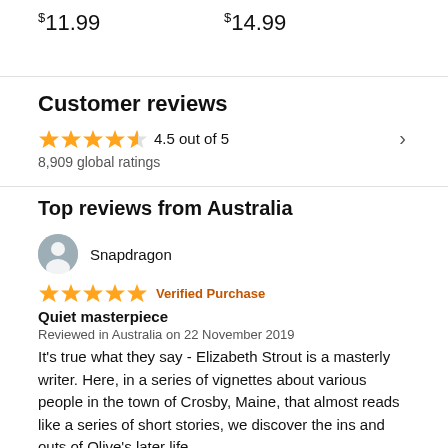$11.99
$14.99
Customer reviews
4.5 out of 5
8,909 global ratings
Top reviews from Australia
Snapdragon
Verified Purchase
Quiet masterpiece
Reviewed in Australia on 22 November 2019
It's true what they say - Elizabeth Strout is a masterly writer. Here, in a series of vignettes about various people in the town of Crosby, Maine, that almost reads like a series of short stories, we discover the ins and outs of Olive's later life,